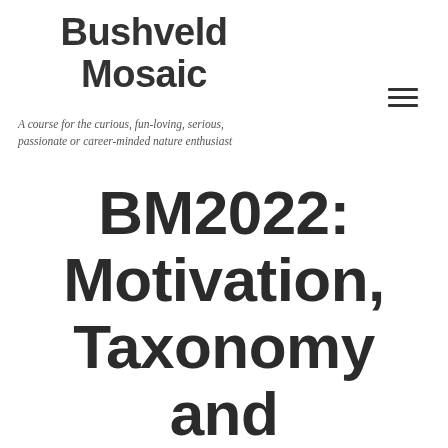Bushveld Mosaic
A course for the curious, fun-loving, serious, passionate or career-minded nature enthusiast
BM2022: Motivation, Taxonomy and